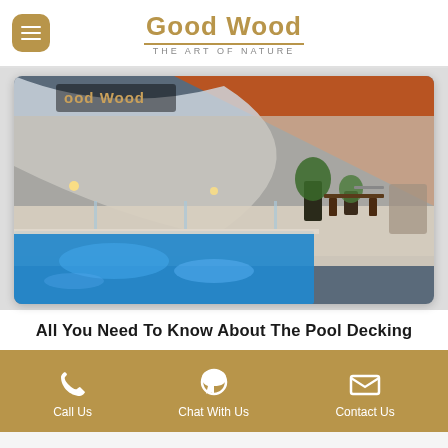Good Wood THE ART OF NATURE
[Figure (photo): Outdoor pool area with shade sail covering, illuminated at dusk, featuring a glowing blue pool, white rendered walls, potted plants, and outdoor furniture. Good Wood logo visible in top-left corner.]
All You Need To Know About The Pool Decking
Call Us | Chat With Us | Contact Us